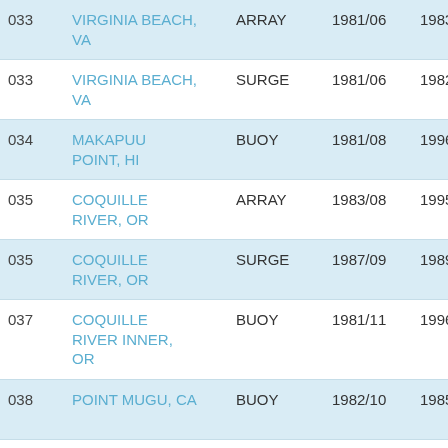| ID | Location | Type | Start | End | ... |
| --- | --- | --- | --- | --- | --- |
| 033 | VIRGINIA BEACH, VA | ARRAY | 1981/06 | 1983/07 | 3... 4... |
| 033 | VIRGINIA BEACH, VA | SURGE | 1981/06 | 1982/07 | 3... 4... |
| 034 | MAKAPUU POINT, HI | BUOY | 1981/08 | 1996/11 | 2... 1... |
| 035 | COQUILLE RIVER, OR | ARRAY | 1983/08 | 1995/01 | 4... 7... |
| 035 | COQUILLE RIVER, OR | SURGE | 1987/09 | 1989/09 | 4... 7... |
| 037 | COQUILLE RIVER INNER, OR | BUOY | 1981/11 | 1996/12 | 4... 6... |
| 038 | POINT MUGU, CA | BUOY | 1982/10 | 1985/09 | 3... 5... |
| 039 | BARKING | BUOY | 1982/10 | 1996/11 | 2... |